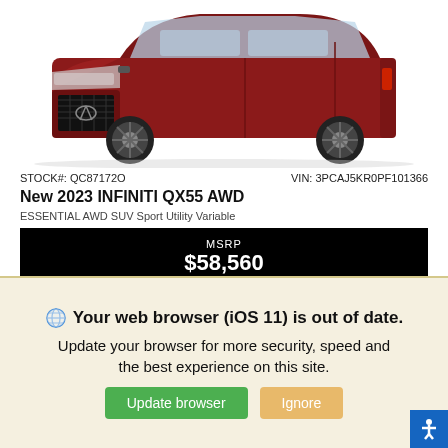[Figure (photo): Red 2023 INFINITI QX55 AWD SUV front three-quarter view showing grille, headlights, and wheels on white background]
STOCK#: QC87172O   VIN: 3PCAJ5KR0PF101366
New 2023 INFINITI QX55 AWD
ESSENTIAL AWD SUV Sport Utility Variable
MSRP $58,560
Variable   AWD   Intercooled Turbo Premium Unleaded I-4 2.0 L/120
Key Features
[Figure (infographic): Row of 5 key feature icons: All-Wheel Drive, ABS brakes, Backup Camera, Heated Seats, Garage Door Opener]
Your web browser (iOS 11) is out of date. Update your browser for more security, speed and the best experience on this site.
Update browser   Ignore